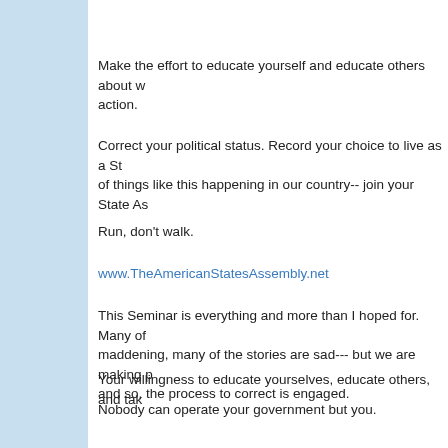Make the effort to educate yourself and educate others about w... action.
Correct your political status. Record your choice to live as a Sta... of things like this happening in our country-- join your State Ass...
Run, don't walk.
www.TheAmericanStatesAssembly.net
This Seminar is everything and more than I hoped for. Many of... maddening, many of the stories are sad--- but we are making p... and so, the process to correct is engaged.
Your willingness to educate yourselves, educate others, and tak...
Nobody can operate your government but you.
-----------------------------
See this article and over 2000 others on Anna's website here: w...
To support this work look for the PayPal buttons on this website...